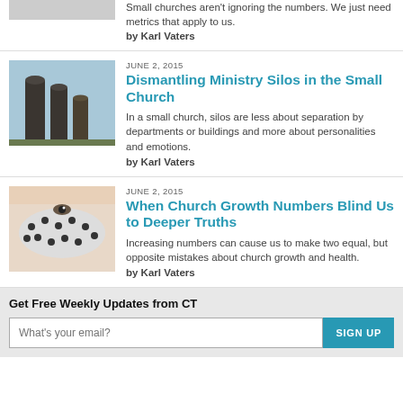Small churches aren't ignoring the numbers. We just need metrics that apply to us.
by Karl Vaters
[Figure (photo): Thumbnail image of silos against a sky]
JUNE 2, 2015
Dismantling Ministry Silos in the Small Church
In a small church, silos are less about separation by departments or buildings and more about personalities and emotions.
by Karl Vaters
[Figure (photo): Thumbnail image of a person covering their face with a patterned mask]
JUNE 2, 2015
When Church Growth Numbers Blind Us to Deeper Truths
Increasing numbers can cause us to make two equal, but opposite mistakes about church growth and health.
by Karl Vaters
Get Free Weekly Updates from CT